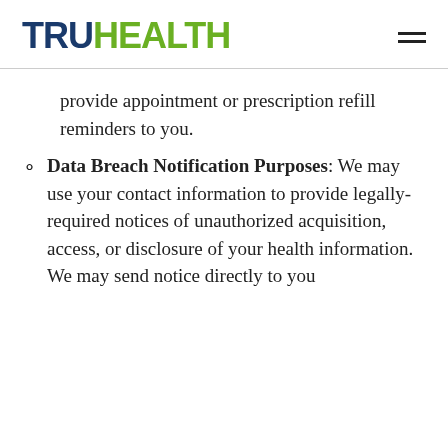TRUHEALTH
provide appointment or prescription refill reminders to you.
Data Breach Notification Purposes: We may use your contact information to provide legally-required notices of unauthorized acquisition, access, or disclosure of your health information. We may send notice directly to you